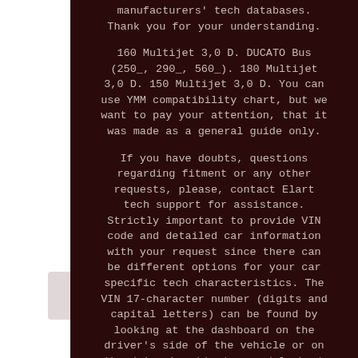manufacturers' tech databases. Thank you for your understanding.

160 Multijet 3,0 D. DUCATO Bus (250_, 290_, 560_). 180 Multijet 3,0 D. 150 Multijet 3,0 D. You can use YMM compatibility chart, but we want to pay your attention, that it was made as a general guide only.

If you have doubts, questions regarding fitment or any other requests, please, contact Elart tech support for assistance. Strictly important to provide VIN code and detailed car information with your request since there can be different options for your car specific tech characteristics. The VIN 17-character number (digits and capital letters) can be found by looking at the dashboard on the driver's side of the vehicle or on the driver's side door and look at